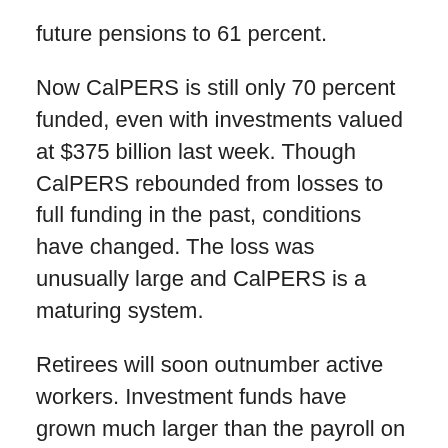future pensions to 61 percent.
Now CalPERS is still only 70 percent funded, even with investments valued at $375 billion last week. Though CalPERS rebounded from losses to full funding in the past, conditions have changed. The loss was unusually large and CalPERS is a maturing system.
Retirees will soon outnumber active workers. Investment funds have grown much larger than the payroll on which employer rates are based. So replacing a loss requires an employer rate increase that takes a much bigger bite out of employer budgets.
The failure to get back to 100 percent funding, or even the traditional minimum of at least 80 percent funding, leaves CalPERS little cushion to absorb a deep economic